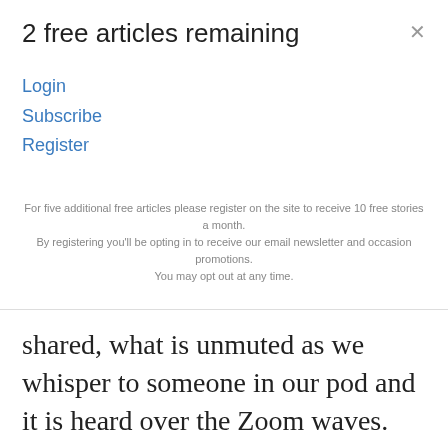2 free articles remaining
Login
Subscribe
Register
For five additional free articles please register on the site to receive 10 free stories a month. By registering you'll be opting in to receive our email newsletter and occasion promotions. You may opt out at any time.
shared, what is unmuted as we whisper to someone in our pod and it is heard over the Zoom waves. We may wish for what cannot be seen, heard or felt on this platform that